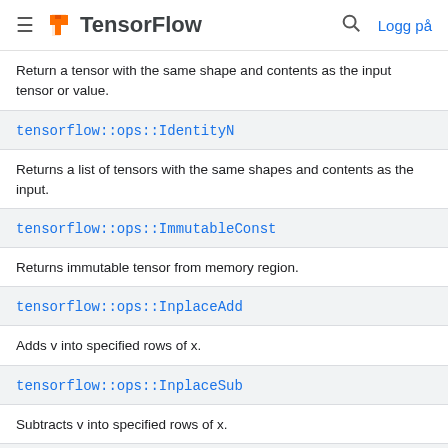TensorFlow — Logg på
Return a tensor with the same shape and contents as the input tensor or value.
tensorflow::ops::IdentityN
Returns a list of tensors with the same shapes and contents as the input.
tensorflow::ops::ImmutableConst
Returns immutable tensor from memory region.
tensorflow::ops::InplaceAdd
Adds v into specified rows of x.
tensorflow::ops::InplaceSub
Subtracts v into specified rows of x.
tensorflow::ops::InplaceUpdate